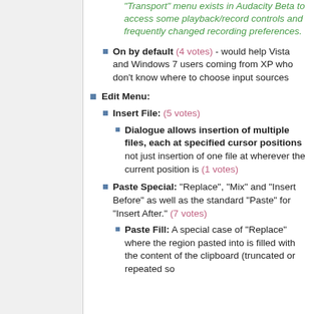"Transport" menu exists in Audacity Beta to access some playback/record controls and frequently changed recording preferences.
On by default (4 votes) - would help Vista and Windows 7 users coming from XP who don't know where to choose input sources
Edit Menu:
Insert File: (5 votes)
Dialogue allows insertion of multiple files, each at specified cursor positions not just insertion of one file at wherever the current position is (1 votes)
Paste Special: "Replace", "Mix" and "Insert Before" as well as the standard "Paste" for "Insert After." (7 votes)
Paste Fill: A special case of "Replace" where the region pasted into is filled with the content of the clipboard (truncated or repeated so...